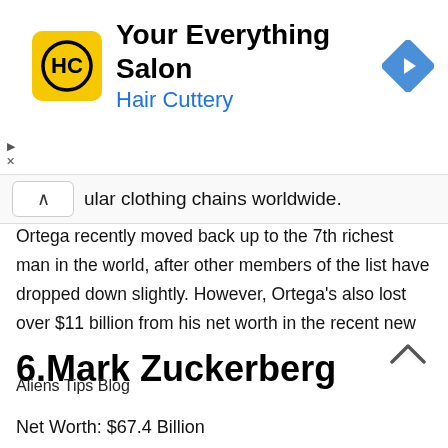[Figure (logo): Hair Cuttery advertisement banner with HC logo, 'Your Everything Salon' heading, 'Hair Cuttery' subheading in blue, and navigation arrow icon]
ular clothing chains worldwide.
Ortega recently moved back up to the 7th richest man in the world, after other members of the list have dropped down slightly. However, Ortega's also lost over $11 billion from his net worth in the recent new
6.Mark Zuckerberg
Aliens Tips Blog
Net Worth: $67.4 Billion